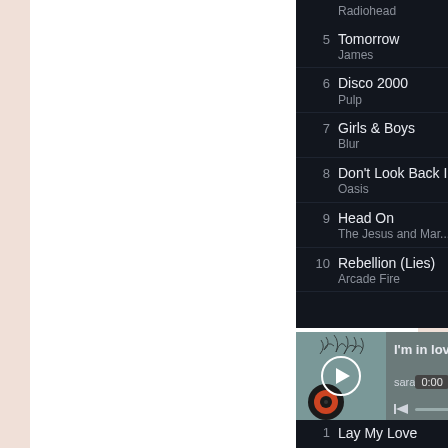[Figure (screenshot): Spotify-like music playlist and player interface showing tracks 5-10 of a playlist (Tomorrow/James 3:45, Disco 2000/Pulp 4:33, Girls & Boys/Blur 4:19, Don't Look Back In.../Oasis 4:49, Head On/The Jesus and Mar... 4:11, Rebellion (Lies)/Arcade Fire 5:10), a media player showing 'I'm in love wi...' with artist 'sara' at 0:00 with playback controls, and track 1 Lay My Love by Brian Eno, John Cale 4:44 at the bottom.]